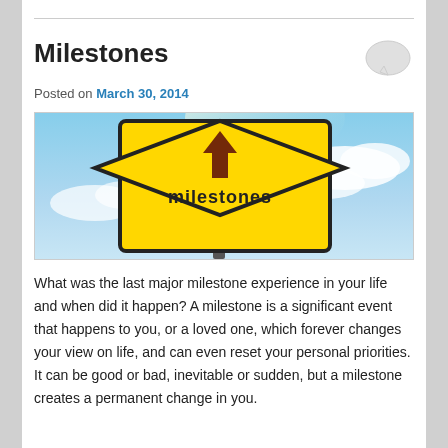Milestones
Posted on March 30, 2014
[Figure (photo): Yellow diamond-shaped road sign with an upward arrow and the word 'milestones' against a blue sky with clouds]
What was the last major milestone experience in your life and when did it happen?  A milestone is a significant event that happens to you, or a loved one, which forever changes your view on life, and can even reset your personal priorities. It can be good or bad, inevitable or sudden, but a milestone creates a permanent change in you.